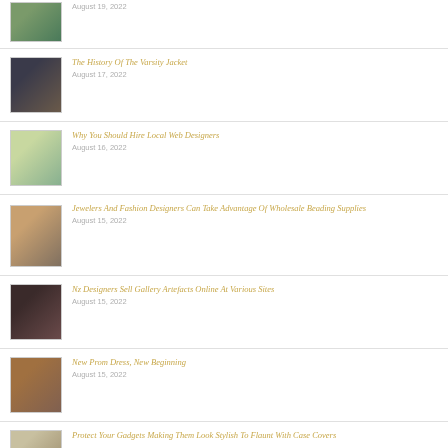August 19, 2022
The History Of The Varsity Jacket
August 17, 2022
Why You Should Hire Local Web Designers
August 16, 2022
Jewelers And Fashion Designers Can Take Advantage Of Wholesale Beading Supplies
August 15, 2022
Nz Designers Sell Gallery Artefacts Online At Various Sites
August 15, 2022
New Prom Dress, New Beginning
August 15, 2022
Protect Your Gadgets Making Them Look Stylish To Flaunt With Case Covers